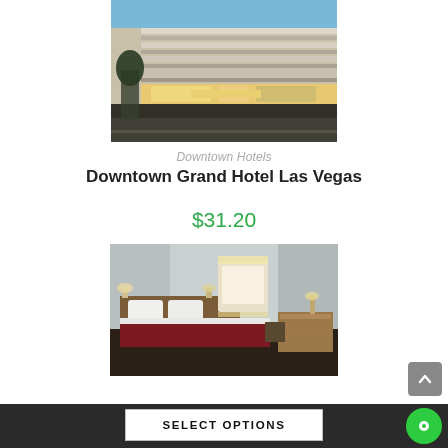[Figure (photo): Exterior photo of Downtown Grand Hotel Las Vegas, showing the facade of a modern high-rise building with horizontal striped paneling, lit lobby entrance, and street view at dusk]
Downtown Hotels
Downtown Grand Hotel Las Vegas
$31.20
[Figure (photo): Interior photo of a hotel room at Downtown Grand Hotel Las Vegas, showing a king bed with white pillows and a dark red bedspread, wooden headboard, a lit vanity mirror, and a dresser]
SELECT OPTIONS